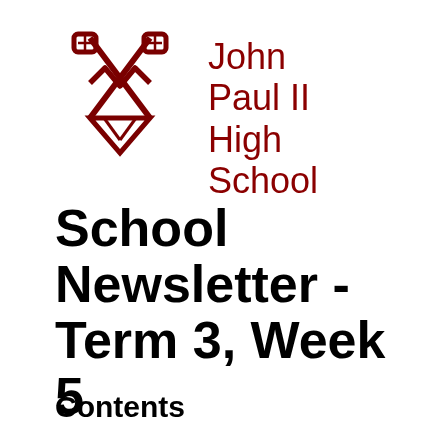[Figure (logo): John Paul II High School crest/logo: crossed keys and shield motif in dark red/maroon]
John Paul II High School
School Newsletter - Term 3, Week 5
Contents